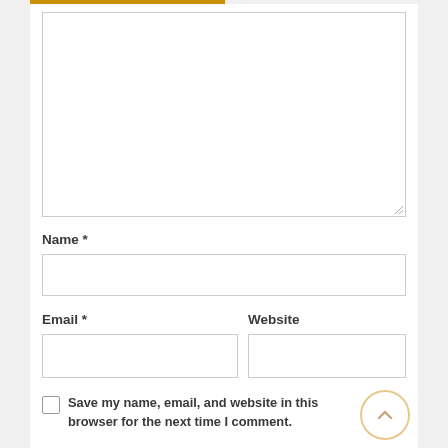[Figure (screenshot): Comment form textarea (large empty text area with resize handle)]
Name *
[Figure (screenshot): Name input field (empty text input)]
Email *
Website
[Figure (screenshot): Email input field (empty text input)]
[Figure (screenshot): Website input field (empty text input)]
Save my name, email, and website in this browser for the next time I comment.